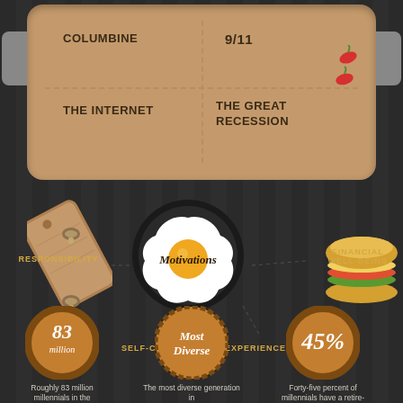[Figure (infographic): Infographic about Millennials with pan/cooking theme. Top section shows a cooking pan with text labels: COLUMBINE, 9/11, THE INTERNET, THE GREAT RECESSION. Middle section shows a fried egg graphic labeled 'Motivations' surrounded by labels: RESPONSIBILITY, FINANCIAL WELL-BEING, SELF-CARE, EXPERIENCES, with a cutting board, mushrooms, and sandwich illustration. Bottom section shows three circular stat badges: 83 million, Most Diverse, 45% with caption text below each.]
COLUMBINE
9/11
THE INTERNET
THE GREAT RECESSION
Motivations
RESPONSIBILITY
FINANCIAL WELL-BEING
SELF-CARE
EXPERIENCES
83 million
Most Diverse
45%
Roughly 83 million millennials in the
The most diverse generation in
Forty-five percent of millennials have a retire-